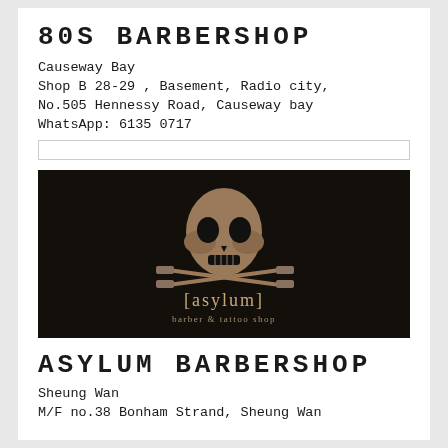80S BARBERSHOP
Causeway Bay
Shop B 28-29 , Basement, Radio city,
No.505 Hennessy Road, Causeway bay
WhatsApp: 6135 0717
[Figure (logo): Asylum barber & tattoo shop logo — skull with crossed razors on dark background with text '[asylum] barber & tattoo shop']
ASYLUM BARBERSHOP
Sheung Wan
M/F no.38 Bonham Strand, Sheung Wan